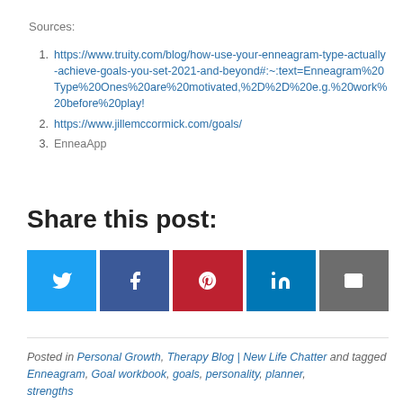Sources:
1. https://www.truity.com/blog/how-use-your-enneagram-type-actually-achieve-goals-you-set-2021-and-beyond#:~:text=Enneagram%20Type%20Ones%20are%20motivated,%2D%2D%20e.g.%20work%20before%20play!
2. https://www.jillemccormick.com/goals/
3. EnneaApp
Share this post:
Posted in Personal Growth, Therapy Blog | New Life Chatter and tagged Enneagram, Goal workbook, goals, personality, planner, strengths